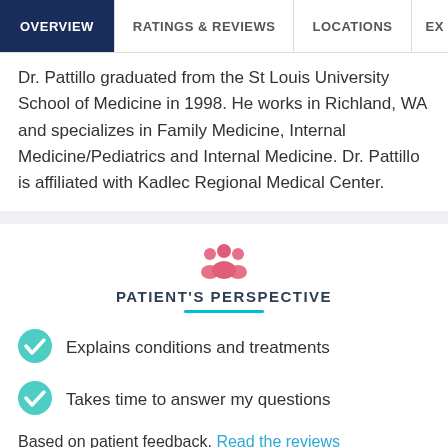OVERVIEW | RATINGS & REVIEWS | LOCATIONS | EX
Dr. Pattillo graduated from the St Louis University School of Medicine in 1998. He works in Richland, WA and specializes in Family Medicine, Internal Medicine/Pediatrics and Internal Medicine. Dr. Pattillo is affiliated with Kadlec Regional Medical Center.
PATIENT'S PERSPECTIVE
Explains conditions and treatments
Takes time to answer my questions
Based on patient feedback. Read the reviews